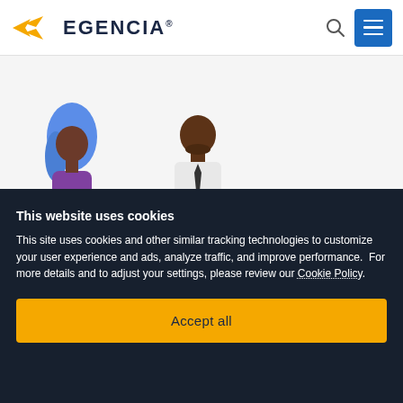[Figure (logo): Egencia logo with yellow bird/arrow symbol and dark navy EGENCIA text]
[Figure (illustration): Partial illustration of two people figures — a woman with blue hair in purple and a man in white shirt, against a white/light background]
This website uses cookies
This site uses cookies and other similar tracking technologies to customize your user experience and ads, analyze traffic, and improve performance.  For more details and to adjust your settings, please review our Cookie Policy.
Accept all